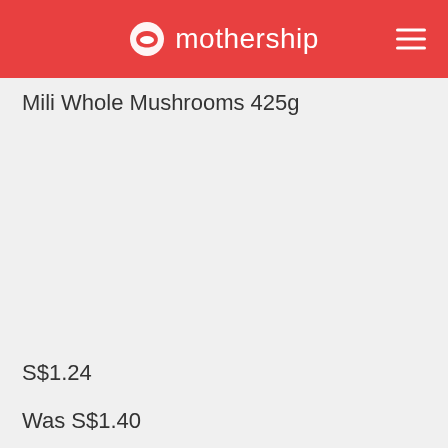mothership
Mili Whole Mushrooms 425g
S$1.24
Was S$1.40